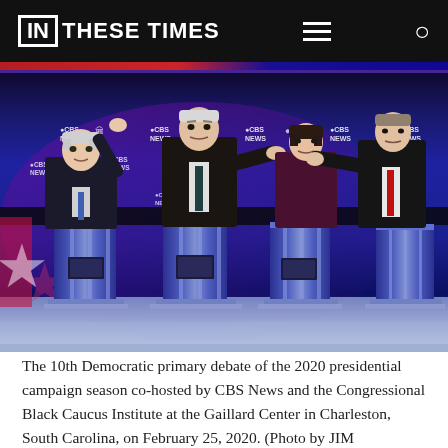IN THESE TIMES
[Figure (photo): Democratic candidates including Bernie Sanders, Joe Biden, Amy Klobuchar, and others stand at podiums on the debate stage at the 10th Democratic primary debate, CBS News logos visible on backdrop, blue and purple stage lighting.]
The 10th Democratic primary debate of the 2020 presidential campaign season co-hosted by CBS News and the Congressional Black Caucus Institute at the Gaillard Center in Charleston, South Carolina, on February 25, 2020. (Photo by JIM WATSON/AFP via Getty Images)